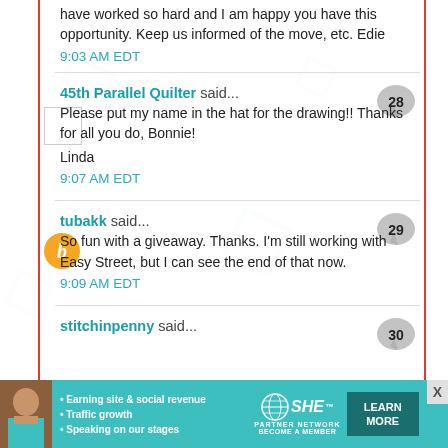have worked so hard and I am happy you have this opportunity. Keep us informed of the move, etc. Edie
9:03 AM EDT
45th Parallel Quilter said...
Please put my name in the hat for the drawing!! Thanks for all you do, Bonnie!
Linda
9:07 AM EDT
tubakk said...
So fun with a giveaway. Thanks. I'm still working with Easy Street, but I can see the end of that now.
9:09 AM EDT
stitchinpenny said...
[Figure (infographic): SHE Partner Network advertisement banner with photo of woman, bullet points: Earning site & social revenue, Traffic growth, Speaking on our stages. SHE logo with globe, PARTNER NETWORK, BECOME A MEMBER, LEARN MORE button.]